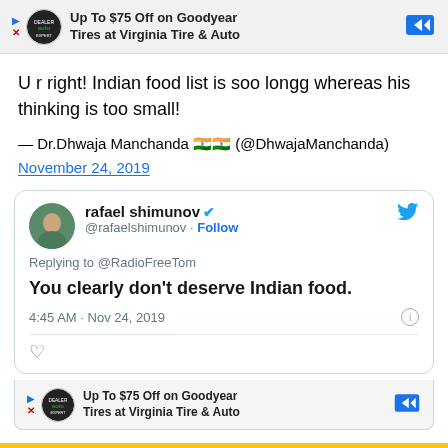[Figure (screenshot): Advertisement banner: Up To $75 Off on Goodyear Tires at Virginia Tire & Auto]
U r right! Indian food list is soo longg whereas his thinking is too small!
— Dr.Dhwaja Manchanda 🇮🇳🇮🇳 (@DhwajaManchanda) November 24, 2019
[Figure (screenshot): Embedded tweet by rafael shimunov (@rafaelshimunov): Replying to @RadioFreeTom — You clearly don't deserve Indian food. 4:45 AM · Nov 24, 2019]
[Figure (screenshot): Advertisement banner at bottom: Up To $75 Off on Goodyear Tires at Virginia Tire & Auto]